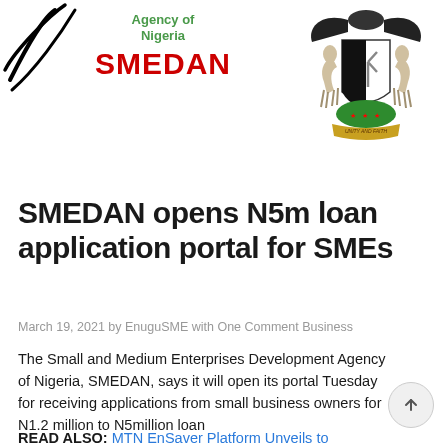[Figure (logo): SMEDAN logo with curvy black lines on the left, green text 'Agency of Nigeria' and red bold text 'SMEDAN']
[Figure (logo): Nigerian coat of arms — eagle, shield with black and white halves, two horses, green base with flowers, ribbon]
SMEDAN opens N5m loan application portal for SMEs
March 19, 2021 by EnuguSME with One Comment Business
The Small and Medium Enterprises Development Agency of Nigeria, SMEDAN, says it will open its portal Tuesday for receiving applications from small business owners for N1.2 million to N5million loan
READ ALSO: MTN EnSaver Platform Unveils to